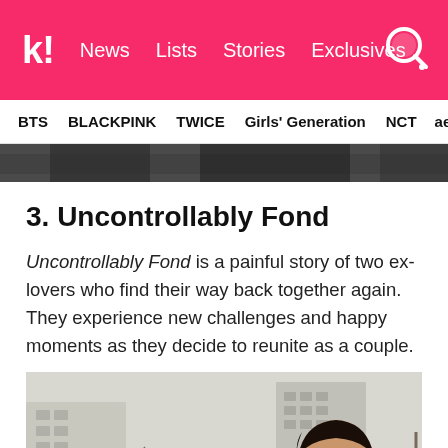k! News  Lists  Stories  Exclusives
BTS  BLACKPINK  TWICE  Girls' Generation  NCT  aespa
[Figure (photo): Top portion of a photo, dark background, appears to be people in dark clothing]
3. Uncontrollably Fond
Uncontrollably Fond is a painful story of two ex-lovers who find their way back together again. They experience new challenges and happy moments as they decide to reunite as a couple.
[Figure (photo): A young man and woman outdoors in winter coats, the man smiling sideways at the woman, buildings in background, bare trees visible]